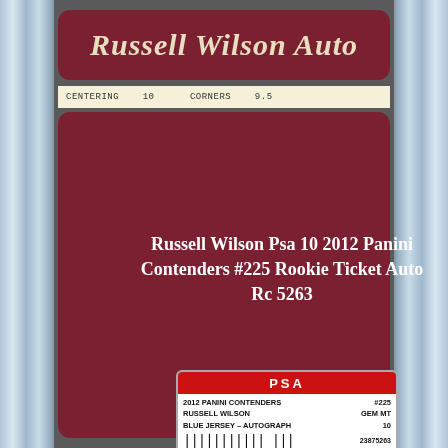Russell Wilson Auto
CENTERING  10    CORNERS  9.5
Russell Wilson Psa 10 2012 Panini Contenders #225 Rookie Ticket Auto Rc 5263
[Figure (photo): PSA graded card holder containing a 2012 Panini Contenders #225 Russell Wilson GEM MT 10 Blue Jersey Autograph rookie ticket card, serial number 23875263, showing Russell Wilson in Seattle Seahawks uniform on the card front with ROOKIE TICKET text]